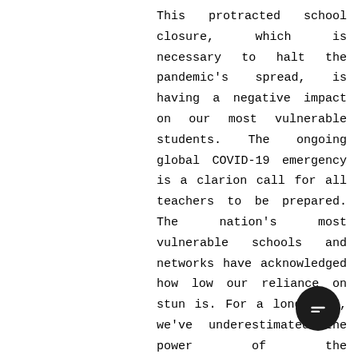This protracted school closure, which is necessary to halt the pandemic's spread, is having a negative impact on our most vulnerable students. The ongoing global COVID-19 emergency is a clarion call for all teachers to be prepared. The nation's most vulnerable schools and networks have acknowledged how low our reliance on stun is. For a long time, we've underestimated the power of the relationship between innovation, instructor, and understudy. While an undetectable infection rates across the globe, a large number of understudies from underserved...